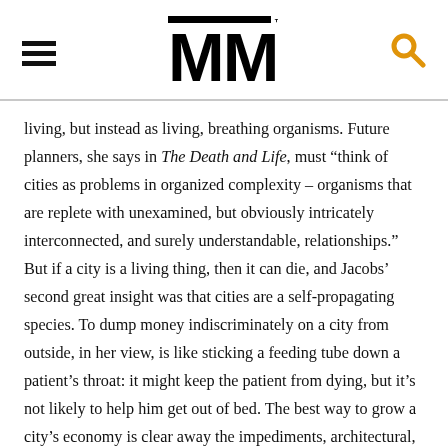MM
living, but instead as living, breathing organisms. Future planners, she says in The Death and Life, must “think of cities as problems in organized complexity – organisms that are replete with unexamined, but obviously intricately interconnected, and surely understandable, relationships.” But if a city is a living thing, then it can die, and Jacobs’ second great insight was that cities are a self-propagating species. To dump money indiscriminately on a city from outside, in her view, is like sticking a feeding tube down a patient’s throat: it might keep the patient from dying, but it’s not likely to help him get out of bed. The best way to grow a city’s economy is clear away the impediments, architectural, governmental, and